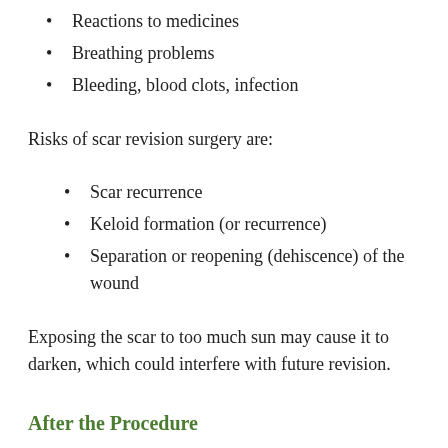Reactions to medicines
Breathing problems
Bleeding, blood clots, infection
Risks of scar revision surgery are:
Scar recurrence
Keloid formation (or recurrence)
Separation or reopening (dehiscence) of the wound
Exposing the scar to too much sun may cause it to darken, which could interfere with future revision.
After the Procedure
For keloid revision, a pressure or elastic dressing may be placed over the area after the operation to prevent the